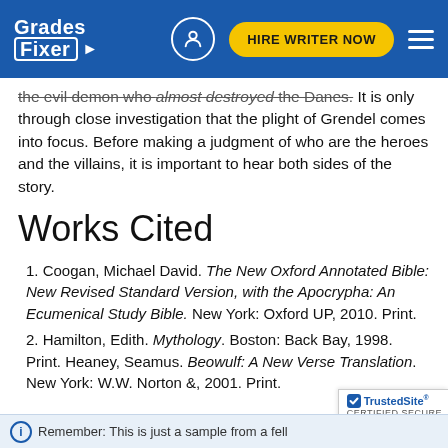Grades Fixer | HIRE WRITER NOW
the evil demon who almost destroyed the Danes. It is only through close investigation that the plight of Grendel comes into focus. Before making a judgment of who are the heroes and the villains, it is important to hear both sides of the story.
Works Cited
1. Coogan, Michael David. The New Oxford Annotated Bible: New Revised Standard Version, with the Apocrypha: An Ecumenical Study Bible. New York: Oxford UP, 2010. Print.
2. Hamilton, Edith. Mythology. Boston: Back Bay, 1998. Print. Heaney, Seamus. Beowulf: A New Verse Translation. New York: W.W. Norton &, 2001. Print.
Remember: This is just a sample from a fell...